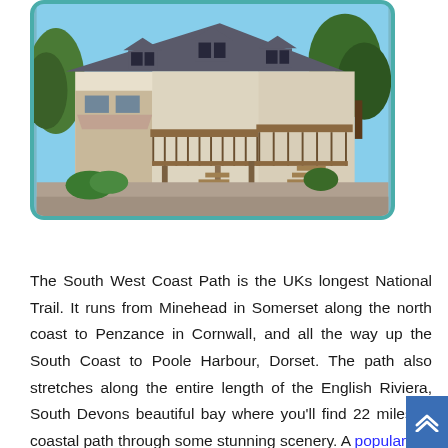[Figure (photo): Photo of a large multi-storey house/cottage with grey slate roof, dormer windows, wooden decking and balconies, surrounded by trees and gravel driveway. Image has rounded corners and teal border.]
The South West Coast Path is the UKs longest National Trail. It runs from Minehead in Somerset along the north coast to Penzance in Cornwall, and all the way up the South Coast to Poole Harbour, Dorset. The path also stretches along the entire length of the English Riviera, South Devons beautiful bay where you'll find 22 miles of coastal path through some stunning scenery. A popular